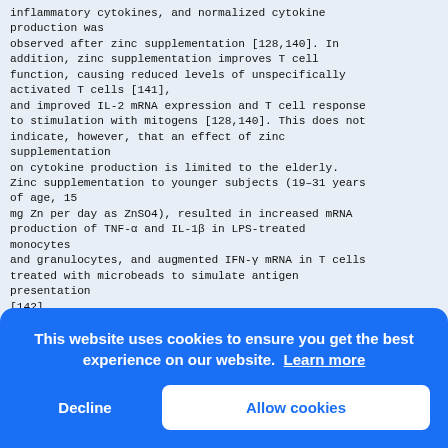inflammatory cytokines, and normalized cytokine production was observed after zinc supplementation [128,140]. In addition, zinc supplementation improves T cell function, causing reduced levels of unspecifically activated T cells [141], and improved IL-2 mRNA expression and T cell response to stimulation with mitogens [128,140]. This does not indicate, however, that an effect of zinc supplementation on cytokine production is limited to the elderly. Zinc supplementation to younger subjects (19–31 years of age, 15 mg Zn per day as ZnSO4), resulted in increased mRNA production of TNF-α and IL-1β in LPS-treated monocytes and granulocytes, and augmented IFN-γ mRNA in T cells treated with microbeads to simulate antigen presentation [142]. The intake of zinc was positively correlated with the resu subj betw a nega indi stre the ment coun investigation of 387 participants between 55 and 87 years who had
This website uses cookies to ensure you get the best experience on our website. Learn more
Decline
Allow cookies